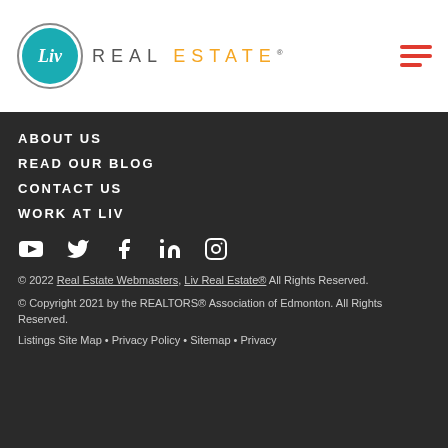[Figure (logo): Liv Real Estate logo with teal circular badge containing 'Liv' in white, followed by 'REAL ESTATE' text in gray and orange]
[Figure (other): Hamburger menu icon with three red horizontal lines]
ABOUT US
READ OUR BLOG
CONTACT US
WORK AT LIV
[Figure (other): Social media icons row: YouTube, Twitter, Facebook, LinkedIn, Instagram]
© 2022 Real Estate Webmasters, Liv Real Estate® All Rights Reserved.
© Copyright 2021 by the REALTORS® Association of Edmonton. All Rights Reserved.
Listings Site Map • Privacy Policy • Sitemap • Privacy